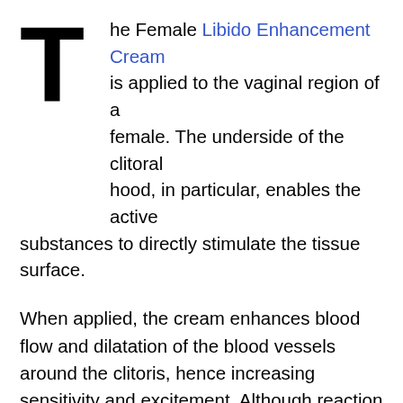The Female Libido Enhancement Cream is applied to the vaginal region of a female. The underside of the clitoral hood, in particular, enables the active substances to directly stimulate the tissue surface.
When applied, the cream enhances blood flow and dilatation of the blood vessels around the clitoris, hence increasing sensitivity and excitement. Although reaction time varies from woman to woman. The benefits of the specific substance tend to grow more quickly with sexual stimulation in the clitoral area via stroking, rubbing, and licking.